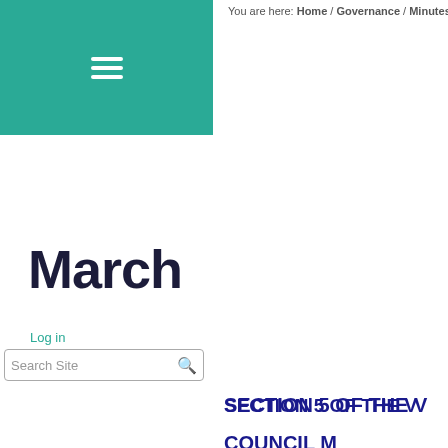You are here: Home / Governance / Minutes / 2
[Figure (other): Teal navigation menu block with hamburger icon (three horizontal white lines)]
March
Log in
Search Site
SECTION 5 OF THE V
COUNCIL M
Date: March 12, 2019
Place: Village Hall, 5906 Connecticut Avenue
Time: 7:30 PM
Present: Greg Chernack, Scott Livingston, Pat Xeller, N 5 residents